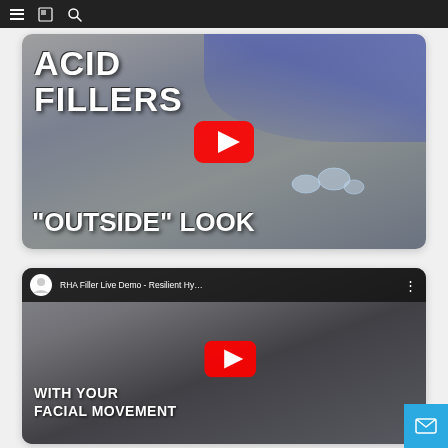[Figure (screenshot): Navigation bar with hamburger menu, book icon, and search icon on dark background]
[Figure (screenshot): YouTube video thumbnail showing 'ACID FILLERS - OUTSIDE LOOK' with a play button overlay, gloved hands and crystal droplets visible in background]
[Figure (screenshot): YouTube video thumbnail for 'RHA Filler Live Demo - Resilient Hy...' showing a woman smiling with text 'WITH YOUR FACIAL MOVEMENT' and a play button overlay]